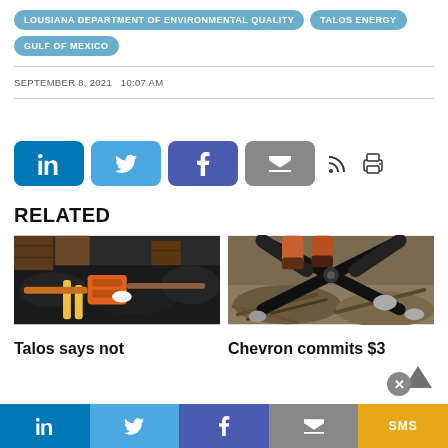LOUSIANA DEPARTMENT OF ENVIRONMENTAL QUALITY
TALOS ENERGY
GULF OF MEXICO
SEPTEMBER 8, 2021   10:07 AM
[Figure (infographic): Social share buttons: LinkedIn (blue), Twitter (light blue), Facebook (dark blue), Email (gray), RSS icon, Print icon]
RELATED
[Figure (photo): Industrial equipment - pipes and machinery with orange metal hardware on dark rocky surface]
[Figure (photo): Person using large bolt cutters or pliers tool outdoors on rocky/debris ground]
Talos says not
Chevron commits $3
[Figure (infographic): Bottom share bar with LinkedIn, Twitter, Facebook, Email (gray), SMS (yellow/gold) buttons]